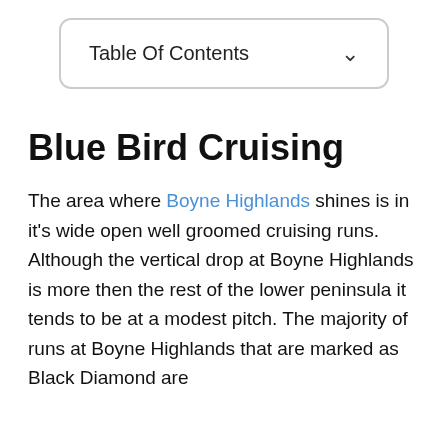Table Of Contents
Blue Bird Cruising
The area where Boyne Highlands shines is in it's wide open well groomed cruising runs. Although the vertical drop at Boyne Highlands is more then the rest of the lower peninsula it tends to be at a modest pitch. The majority of runs at Boyne Highlands that are marked as Black Diamond are